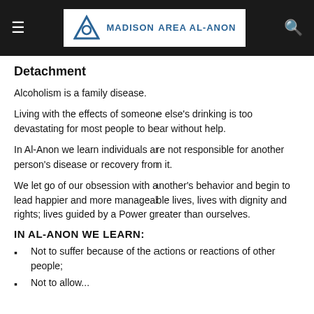Madison Area Al-Anon
Detachment
Alcoholism is a family disease.
Living with the effects of someone else's drinking is too devastating for most people to bear without help.
In Al-Anon we learn individuals are not responsible for another person's disease or recovery from it.
We let go of our obsession with another's behavior and begin to lead happier and more manageable lives, lives with dignity and rights; lives guided by a Power greater than ourselves.
IN AL-ANON WE LEARN:
Not to suffer because of the actions or reactions of other people;
Not to allow...